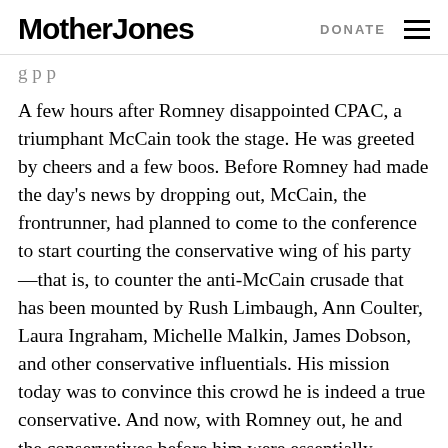Mother Jones | DONATE
g p p
A few hours after Romney disappointed CPAC, a triumphant McCain took the stage. He was greeted by cheers and a few boos. Before Romney had made the day's news by dropping out, McCain, the frontrunner, had planned to come to the conference to start courting the conservative wing of his party—that is, to counter the anti-McCain crusade that has been mounted by Rush Limbaugh, Ann Coulter, Laura Ingraham, Michelle Malkin, James Dobson, and other conservative influentials. His mission today was to convince this crowd he is indeed a true conservative. And now, with Romney out, he and the conservatives before him were essentially